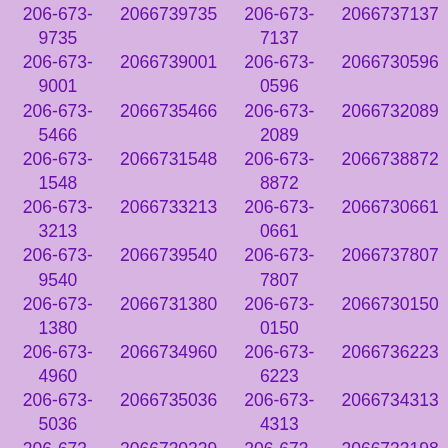| 206-673-9735 | 2066739735 | 206-673-7137 | 2066737137 |
| 206-673-9001 | 2066739001 | 206-673-0596 | 2066730596 |
| 206-673-5466 | 2066735466 | 206-673-2089 | 2066732089 |
| 206-673-1548 | 2066731548 | 206-673-8872 | 2066738872 |
| 206-673-3213 | 2066733213 | 206-673-0661 | 2066730661 |
| 206-673-9540 | 2066739540 | 206-673-7807 | 2066737807 |
| 206-673-1380 | 2066731380 | 206-673-0150 | 2066730150 |
| 206-673-4960 | 2066734960 | 206-673-6223 | 2066736223 |
| 206-673-5036 | 2066735036 | 206-673-4313 | 2066734313 |
| 206-673-0229 | 2066730229 | 206-673-3198 | 2066733198 |
| 206-673-7906 | 2066737906 | 206-673-3663 | 2066733663 |
| 206-673-1589 | 2066731589 | 206-673-6348 | 2066736348 |
| 206-673-6598 | 2066736598 | 206-673-8107 | 2066738107 |
| 206-673-3664 | 2066733664 | 206-673-2208 | 2066732208 |
| 206-673-1390 | 2066731390 | 206-673-4797 | 2066734797 |
| 206-673-1473 | 2066731473 | 206-673-8971 | 2066738971 |
| 206-673-0681 | 2066730681 | 206-673-6530 | 2066736530 |
| 206-673-8444 | 2066738444 | 206-673-3699 | 2066733699 |
| 206-673-4079 | 2066734079 | 206-673-0354 | 2066730354 |
| 206-673-2791 | 2066732791 | 206-673-3697 | 2066733697 |
| 206-673-9673 | 2066739673 | 206-673-8130 | 2066738130 |